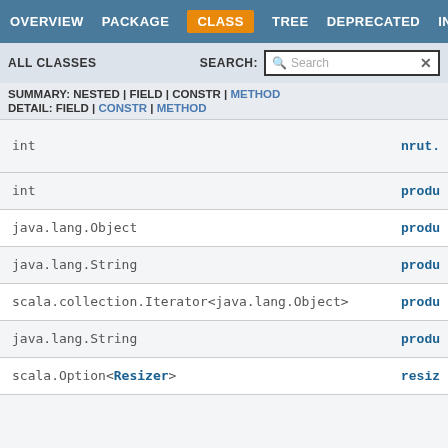OVERVIEW | PACKAGE | CLASS | TREE | DEPRECATED | INDEX
ALL CLASSES  SEARCH:
| Type | Method |
| --- | --- |
| int | nrut... |
| int | produ... |
| java.lang.Object | produ... |
| java.lang.String | produ... |
| scala.collection.Iterator<java.lang.Object> | produ... |
| java.lang.String | produ... |
| scala.Option<Resizer> | resiz... |
| java.lang.String | route... |
SUMMARY: NESTED | FIELD | CONSTR | METHOD
DETAIL: FIELD | CONSTR | METHOD